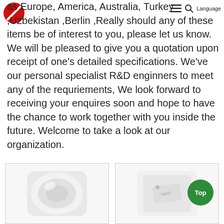Language navigation bar with logo, hamburger menu, search icon, Language
as Europe, America, Australia, Turkey ,Uzbekistan ,Berlin ,Really should any of these items be of interest to you, please let us know. We will be pleased to give you a quotation upon receipt of one's detailed specifications. We've our personal specialist R&D enginners to meet any of the requriements, We look forward to receiving your enquires soon and hope to have the chance to work together with you inside the future. Welcome to take a look at our organization.
[Figure (photo): Two product images at the bottom: left shows a white roll/fabric roll, right shows a white product with a tag label]